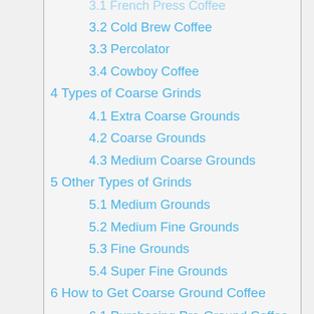3.2 Cold Brew Coffee
3.3 Percolator
3.4 Cowboy Coffee
4 Types of Coarse Grinds
4.1 Extra Coarse Grounds
4.2 Coarse Grounds
4.3 Medium Coarse Grounds
5 Other Types of Grinds
5.1 Medium Grounds
5.2 Medium Fine Grounds
5.3 Fine Grounds
5.4 Super Fine Grounds
6 How to Get Coarse Ground Coffee
6.1 Purchasing Pre-Ground Coffee
7 Grinding Your Coffee At Home
7.1 Burr Blade Grinder